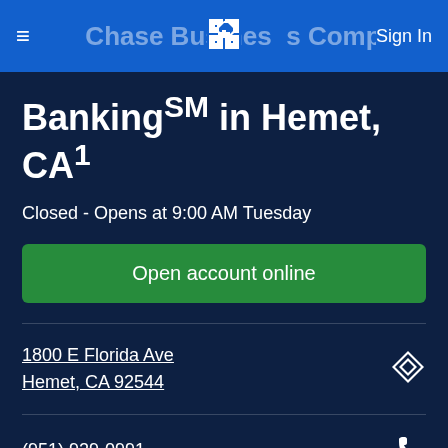Chase Business Complete Banking SM in Hemet, CA — Sign In
Banking SM in Hemet, CA 1
Closed - Opens at 9:00 AM Tuesday
Open account online
1800 E Florida Ave
Hemet, CA 92544
(951) 929-0991
JUMP TO SECTION: